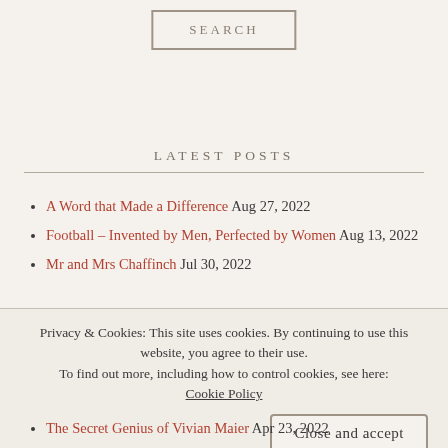[Figure (other): Search button with border, centered at top of page]
LATEST POSTS
A Word that Made a Difference Aug 27, 2022
Football – Invented by Men, Perfected by Women Aug 13, 2022
Mr and Mrs Chaffinch Jul 30, 2022
Privacy & Cookies: This site uses cookies. By continuing to use this website, you agree to their use.
To find out more, including how to control cookies, see here:
Cookie Policy
The Secret Genius of Vivian Maier Apr 23, 2022